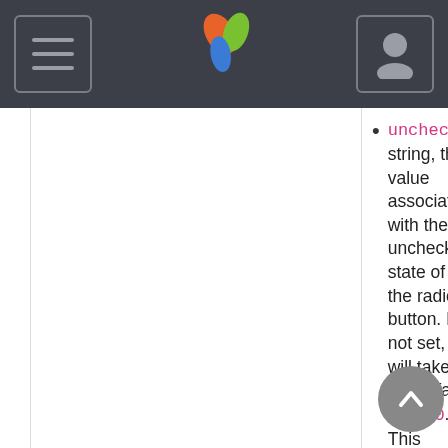Navigation header with logo
uncheck: string, the value associated with the uncheck state of the radio button. If not set, it will take the default value 0. This method will render